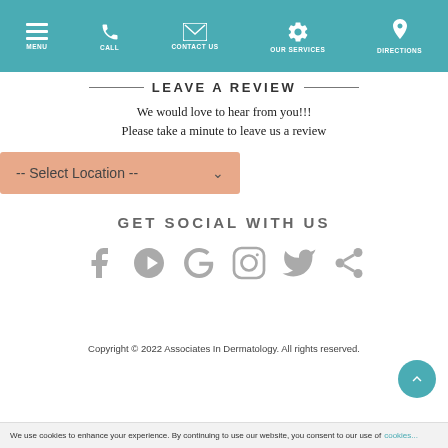MENU | CALL | CONTACT US | OUR SERVICES | DIRECTIONS
LEAVE A REVIEW
We would love to hear from you!!!
Please take a minute to leave us a review
[Figure (other): Dropdown selector with salmon/peach background labeled '-- Select Location --']
GET SOCIAL WITH US
[Figure (other): Row of 6 gray social media icons: Facebook, Yelp, Google, Instagram, Twitter, Share]
Copyright © 2022 Associates In Dermatology. All rights reserved.
We use cookies to enhance your experience. By continuing to use our website, you consent to our use of cookies...